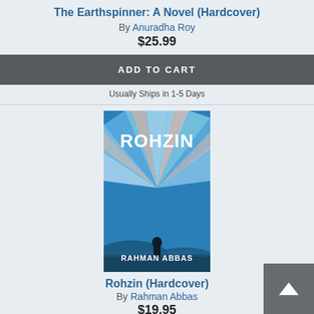The Earthspinner: A Novel (Hardcover)
By Anuradha Roy
$25.99
ADD TO CART
Usually Ships in 1-5 Days
[Figure (photo): Book cover of Rohzin by Rahman Abbas — blue burst/ray design with a silhouette figure and ocean/desert landscape at bottom]
Rohzin (Hardcover)
By Rahman Abbas
$19.95
ADD TO CART
Backordered
[Figure (photo): Partial book cover of a third book (The Ramalara or similar), partially visible at the bottom of the page]